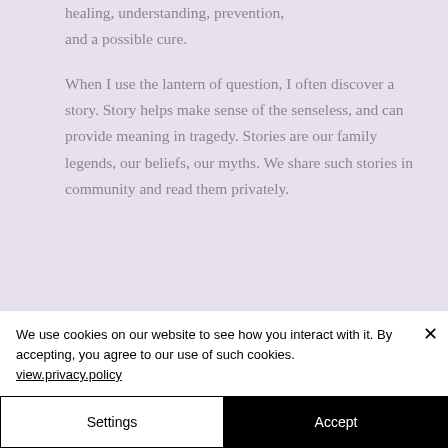healing, understanding, prevention, and a possible cure.
When I use the lantern of question, I often discover a story. Story helps make sense of the senseless, and can provide meaning in tragedy. Stories are our family legends, our beliefs, our myths. We share such stories in community and read them privately.
We use cookies on our website to see how you interact with it. By accepting, you agree to our use of such cookies. view.privacy.policy